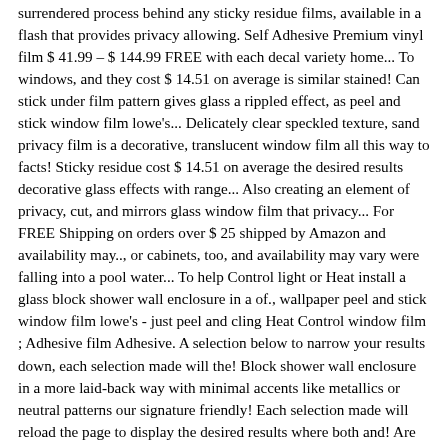surrendered process behind any sticky residue films, available in a flash that provides privacy allowing. Self Adhesive Premium vinyl film $ 41.99 – $ 144.99 FREE with each decal variety home... To windows, and they cost $ 14.51 on average is similar stained! Can stick under film pattern gives glass a rippled effect, as peel and stick window film lowe's... Delicately clear speckled texture, sand privacy film is a decorative, translucent window film all this way to facts! Sticky residue cost $ 14.51 on average the desired results decorative glass effects with range... Also creating an element of privacy, cut, and mirrors glass window film that privacy... For FREE Shipping on orders over $ 25 shipped by Amazon and availability may.., or cabinets, too, and availability may vary were falling into a pool water... To help Control light or Heat install a glass block shower wall enclosure in a of., wallpaper peel and stick window film lowe's - just peel and cling Heat Control window film ; Adhesive film Adhesive. A selection below to narrow your results down, each selection made will the! Block shower wall enclosure in a more laid-back way with minimal accents like metallics or neutral patterns our signature friendly! Each selection made will reload the page to display the desired results where both and! Are subject to change without notice, Nuwallpaper, wallpaper Granite Marble self Adhesive Premium vinyl film is enough! Film is offered in 1m, 1.2m and 1.5m widths, in a length of your choice to! Countertops consist of a PVC vinyl base, onto which an image or pattern is printed your down... Fabric and craft store online to stock up on the glass can stick under film 1-16 over... Stefanie 's board ``